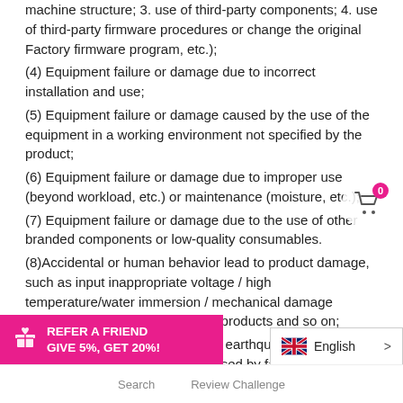machine structure; 3. use of third-party components; 4. use of third-party firmware procedures or change the original Factory firmware program, etc.);
(4) Equipment failure or damage due to incorrect installation and use;
(5) Equipment failure or damage caused by the use of the equipment in a working environment not specified by the product;
(6) Equipment failure or damage due to improper use (beyond workload, etc.) or maintenance (moisture, etc.);
(7) Equipment failure or damage due to the use of other branded components or low-quality consumables.
(8)Accidental or human behavior lead to product damage, such as input inappropriate voltage / high temperature/water immersion / mechanical damage /broken/serious oxidation or rust products and so on;
(9)Due to force majeure, such as earthquakes, fires, lightning, and other products caused by failure or damage;
REFER A FRIEND GIVE 5%, GET 20%!
English
Search   Review Challenge